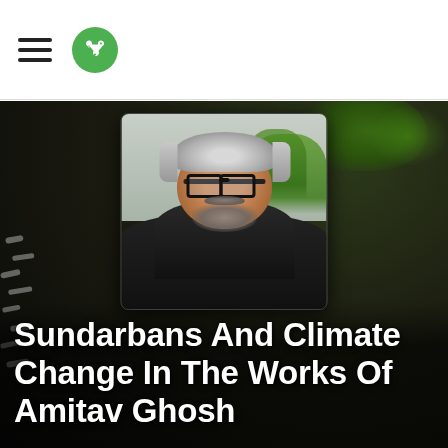Navigation header with hamburger menu and share button
[Figure (photo): Portrait photo of Amitav Ghosh, an older man with white/grey hair, dark-rimmed glasses, and a beard, set against a green mangrove forest background. The image is framed over a dark background featuring faint tiger stripes on the left and green foliage on the right.]
Sundarbans And Climate Change In The Works Of Amitav Ghosh